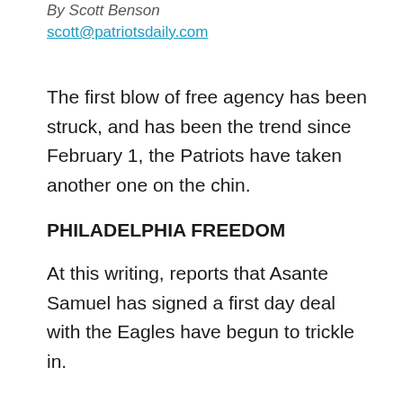By Scott Benson
scott@patriotsdaily.com
The first blow of free agency has been struck, and has been the trend since February 1, the Patriots have taken another one on the chin.
PHILADELPHIA FREEDOM
At this writing, reports that Asante Samuel has signed a first day deal with the Eagles have begun to trickle in.
The Pro Bowl cornerback has apparently reached a six-year agreement with Philadelphia, though financial considerations have yet to be determined. Early rumors say that the former 4th round pick will average somewhere around $9.5 million a season for the Eagles